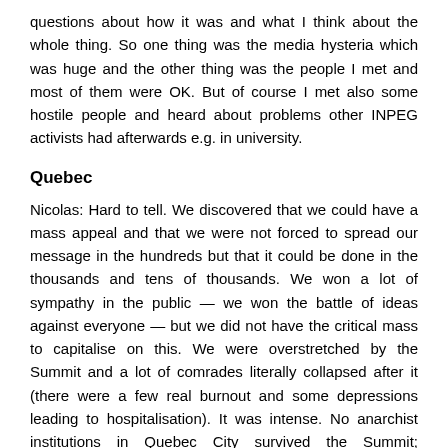questions about how it was and what I think about the whole thing. So one thing was the media hysteria which was huge and the other thing was the people I met and most of them were OK. But of course I met also some hostile people and heard about problems other INPEG activists had afterwards e.g. in university.
Quebec
Nicolas: Hard to tell. We discovered that we could have a mass appeal and that we were not forced to spread our message in the hundreds but that it could be done in the thousands and tens of thousands. We won a lot of sympathy in the public — we won the battle of ideas against everyone — but we did not have the critical mass to capitalise on this. We were overstretched by the Summit and a lot of comrades literally collapsed after it (there were a few real burnout and some depressions leading to hospitalisation). It was intense. No anarchist institutions in Quebec City survived the Summit; everything was shaken to the foundation. It was a cataclysmic event. It took us close to a year before we started to have a stable and effective NEFAC local again (and it was no stronger then before, just not exactly the same people).
In retrospect, I think we were strengthened by it. There is now a